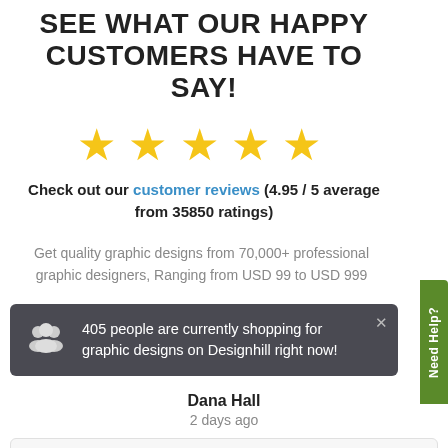SEE WHAT OUR HAPPY CUSTOMERS HAVE TO SAY!
[Figure (other): Five gold star rating icons]
Check out our customer reviews (4.95 / 5 average from 35850 ratings)
Get quality graphic designs from 70,000+ professional graphic designers, Ranging from USD 99 to USD 999
405 people are currently shopping for graphic designs on Designhill right now!
Dana Hall
2 days ago